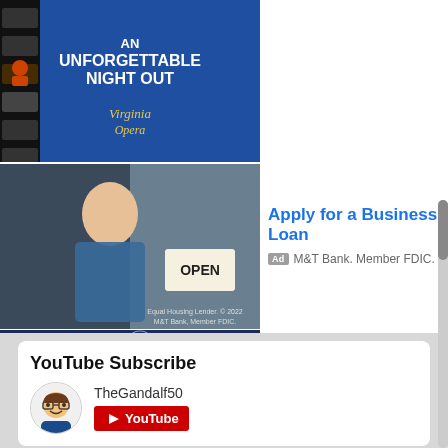[Figure (screenshot): Ad banner for Virginia Opera with text 'AN UNFORGETTABLE NIGHT OUT' on dark blue background with film strip motif]
[Figure (photo): Photo of a smiling woman in apron holding an 'OPEN' sign, M&T Bank business loan ad]
Apply for a Business Loan
Ad M&T Bank. Member FDIC.
[Figure (photo): Photo of a smart city with glowing tech icons overlay, Kaseware ad]
Schedule a Free Demo
Ad Kaseware
YouTube Subscribe
TheGandalf50
[Figure (logo): YouTube button logo in red with play icon]